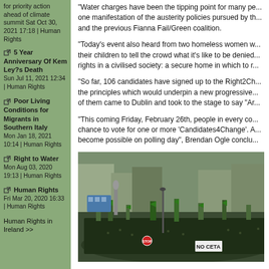5 Year Anniversary Of Kem Ley?s Death Sun Jul 11, 2021 12:34 | Human Rights
Poor Living Conditions for Migrants in Southern Italy Mon Jan 18, 2021 10:14 | Human Rights
Right to Water Mon Aug 03, 2020 19:13 | Human Rights
Human Rights Fri Mar 20, 2020 16:33 | Human Rights
Human Rights in Ireland >>
“Water charges have been the tipping point for many pe... one manifestation of the austerity policies pursued by th... and the previous Fianna Fail/Green coalition.
“Today’s event also heard from two homeless women w... their children to tell the crowd what it’s like to be denied... rights in a civilised society: a secure home in which to r...
“So far, 106 candidates have signed up to the Right2Ch... the principles which would underpin a new progressive... of them came to Dublin and took to the stage to say “Ar...
“This coming Friday, February 26th, people in every co... chance to vote for one or more ‘Candidates4Change’. A... become possible on polling day”, Brendan Ogle conclu...
[Figure (photo): Aerial/elevated view of a large street protest in Dublin city centre, showing a massive crowd of people marching with green flags and banners including a 'NO CETA' sign, with city buildings and a statue visible.]